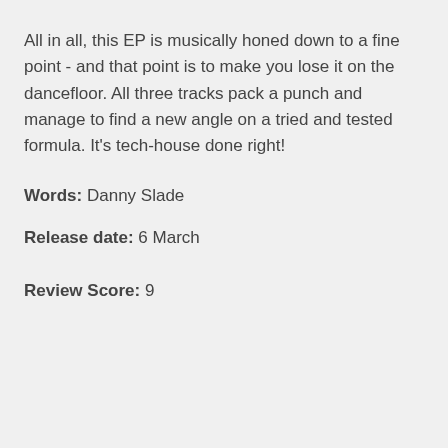All in all, this EP is musically honed down to a fine point - and that point is to make you lose it on the dancefloor. All three tracks pack a punch and manage to find a new angle on a tried and tested formula. It's tech-house done right!
Words: Danny Slade
Release date: 6 March
Review Score: 9